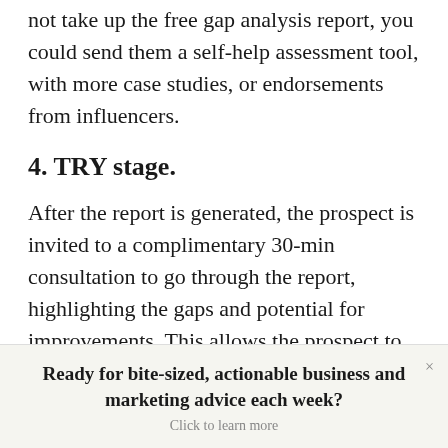not take up the free gap analysis report, you could send them a self-help assessment tool, with more case studies, or endorsements from influencers.
4. TRY stage.
After the report is generated, the prospect is invited to a complimentary 30-min consultation to go through the report, highlighting the gaps and potential for improvements. This allows the prospect to experience your expertise as a consultant and evaluate cost-benefit of engaging your services. The ideal outcome of
Ready for bite-sized, actionable business and marketing advice each week?
Click to learn more